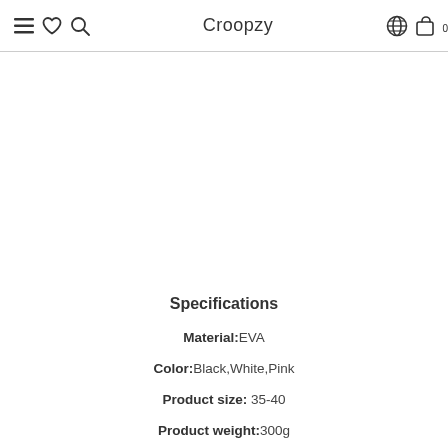Croopzy
Specifications
Material: EVA
Color: Black,White,Pink
Product size: 35-40
Product weight: 300g
market year season: Spring 2022